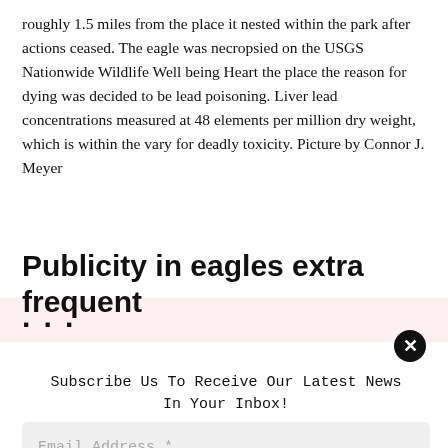roughly 1.5 miles from the place it nested within the park after actions ceased. The eagle was necropsied on the USGS Nationwide Wildlife Well being Heart the place the reason for dying was decided to be lead poisoning. Liver lead concentrations measured at 48 elements per million dry weight, which is within the vary for deadly toxicity. Picture by Connor J. Meyer
Publicity in eagles extra frequent
Subscribe Us To Receive Our Latest News In Your Inbox!
Email Address *